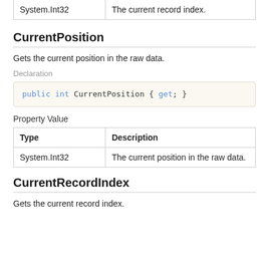| Type | Description |
| --- | --- |
| System.Int32 | The current record index. |
CurrentPosition
Gets the current position in the raw data.
Declaration
Property Value
| Type | Description |
| --- | --- |
| System.Int32 | The current position in the raw data. |
CurrentRecordIndex
Gets the current record index.